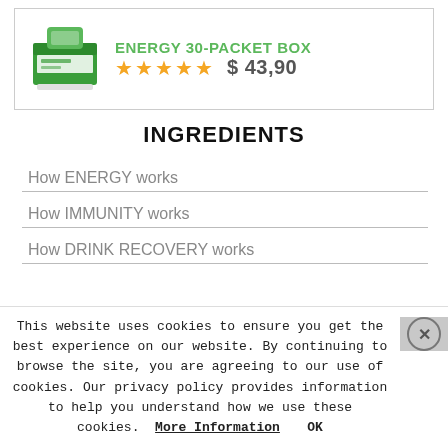[Figure (photo): Green product packet box for Energy 30-Packet Box with star rating of 5 stars and price $43,90]
INGREDIENTS
How ENERGY works
How IMMUNITY works
How DRINK RECOVERY works
This website uses cookies to ensure you get the best experience on our website. By continuing to browse the site, you are agreeing to our use of cookies. Our privacy policy provides information to help you understand how we use these cookies. More Information OK